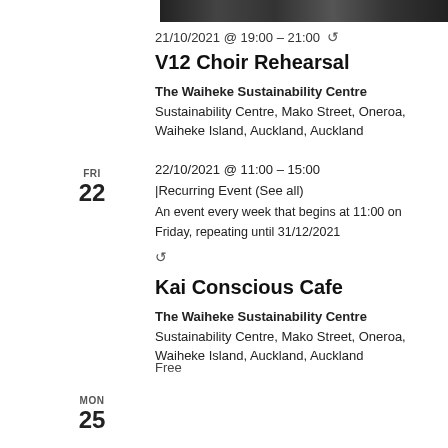[Figure (photo): Dark photo strip at the top of the page showing people silhouettes]
21/10/2021 @ 19:00 – 21:00 ↺
V12 Choir Rehearsal
The Waiheke Sustainability Centre Sustainability Centre, Mako Street, Oneroa, Waiheke Island, Auckland, Auckland
FRI
22
22/10/2021 @ 11:00 – 15:00
|Recurring Event (See all)
An event every week that begins at 11:00 on Friday, repeating until 31/12/2021
↺
Kai Conscious Cafe
The Waiheke Sustainability Centre Sustainability Centre, Mako Street, Oneroa, Waiheke Island, Auckland, Auckland
Free
MON
25